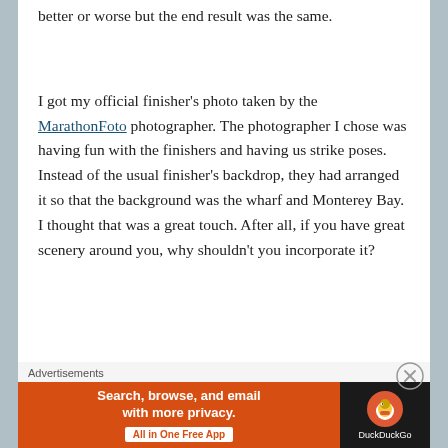better or worse but the end result was the same.
I got my official finisher’s photo taken by the MarathonFoto photographer. The photographer I chose was having fun with the finishers and having us strike poses. Instead of the usual finisher’s backdrop, they had arranged it so that the background was the wharf and Monterey Bay. I thought that was a great touch. After all, if you have great scenery around you, why shouldn’t you incorporate it?
Advertisements
[Figure (screenshot): DuckDuckGo advertisement banner: orange left section with text 'Search, browse, and email with more privacy. All in One Free App' and dark right section with DuckDuckGo duck logo and brand name.]